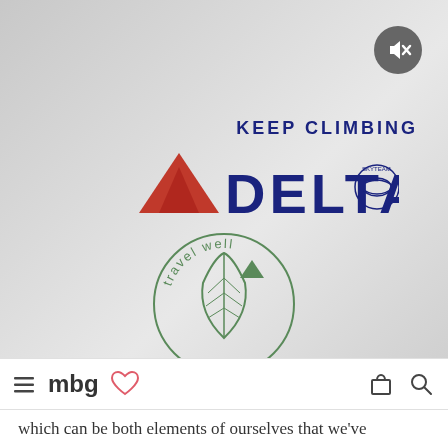[Figure (screenshot): Delta Air Lines advertisement screenshot showing Delta logo with red triangle and navy DELTA text with SkyTeam logo, tagline KEEP CLIMBING, and a circular 'travel well' green leaf badge. Below is a website navigation bar with mbg logo and hamburger menu, and partial article text.]
KEEP CLIMBING
[Figure (logo): Delta Air Lines logo: red triangle followed by navy blue DELTA text and SkyTeam circular logo]
[Figure (logo): Travel well circular badge with green leaf and small Delta triangle arrow inside]
[Figure (logo): mbg (mindbodygreen) navigation bar with hamburger menu, mbg heart logo, shopping bag and search icons]
which can be both elements of ourselves that we've